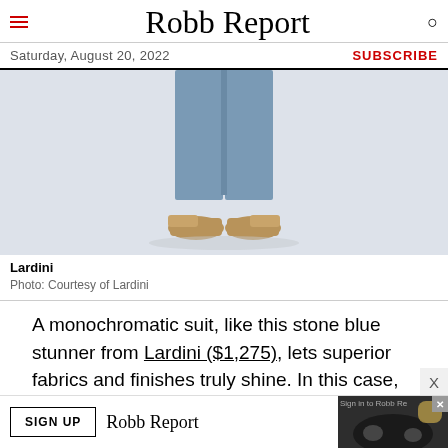Robb Report
Saturday, August 20, 2022   SUBSCRIBE
[Figure (photo): Lower half of a person wearing stone blue trousers and tan suede oxford shoes on a white background]
Lardini
Photo: Courtesy of Lardini
A monochromatic suit, like this stone blue stunner from Lardini ($1,275), lets superior fabrics and finishes truly shine. In this case, it's a subtly textured cotton-linen blend finished with intricate tone-on-tone to-stitching. And even with all that fine craftsmanship, it still wears like your
[Figure (screenshot): Advertisement bar: SIGN UP button, Robb Report logo, food/drink image with Sign in to Robb Ro text, and X close button]